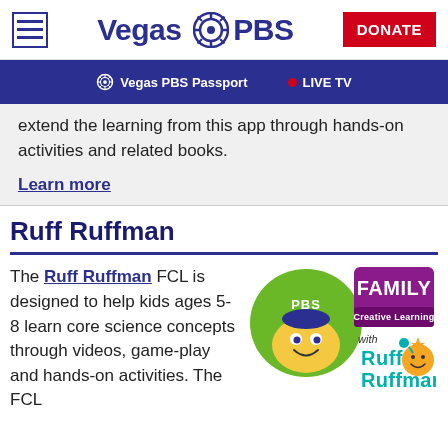Vegas PBS — DONATE
Vegas PBS Passport  •  LIVE TV
extend the learning from this app through hands-on activities and related books.
Learn more
Ruff Ruffman
The Ruff Ruffman FCL is designed to help kids ages 5-8 learn core science concepts through videos, game-play and hands-on activities. The FCL
[Figure (logo): PBS Kids Family Creative Learning with Ruff Ruffman logo]